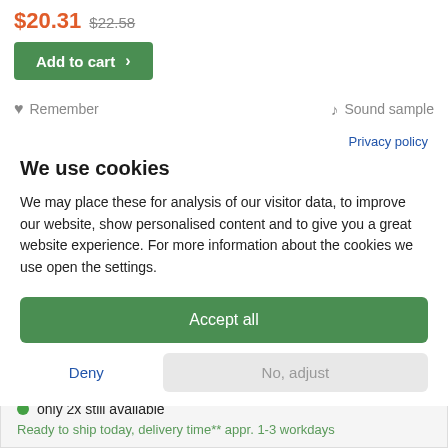$20.31 $22.58
Add to cart
Remember   Sound sample
Privacy policy
We use cookies
We may place these for analysis of our visitor data, to improve our website, show personalised content and to give you a great website experience. For more information about the cookies we use open the settings.
Accept all
Deny
No, adjust
Art-Nr.: CD2799398
only 2x still available
Ready to ship today, delivery time** appr. 1-3 workdays